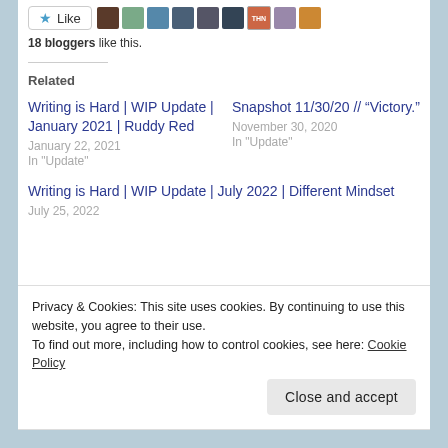[Figure (screenshot): Like button with star icon followed by a strip of 9 small avatar thumbnails]
18 bloggers like this.
Related
Writing is Hard | WIP Update | January 2021 | Ruddy Red
January 22, 2021
In "Update"
Snapshot 11/30/20 // “Victory.”
November 30, 2020
In "Update"
Writing is Hard | WIP Update | July 2022 | Different Mindset
July 25, 2022
Privacy & Cookies: This site uses cookies. By continuing to use this website, you agree to their use.
To find out more, including how to control cookies, see here: Cookie Policy